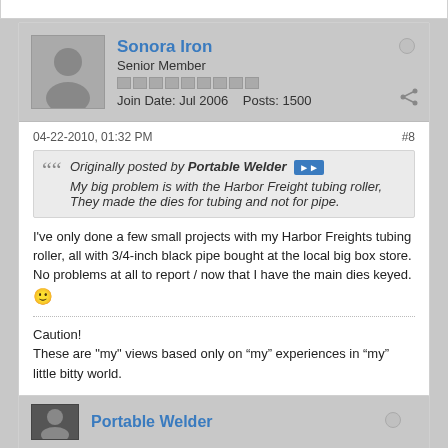Sonora Iron
Senior Member
Join Date: Jul 2006  Posts: 1500
04-22-2010, 01:32 PM
#8
Originally posted by Portable Welder
My big problem is with the Harbor Freight tubing roller, They made the dies for tubing and not for pipe.
I've only done a few small projects with my Harbor Freights tubing roller, all with 3/4-inch black pipe bought at the local big box store. No problems at all to report / now that I have the main dies keyed. 🙂
Caution!
These are "my" views based only on “my” experiences in “my” little bitty world.
Portable Welder